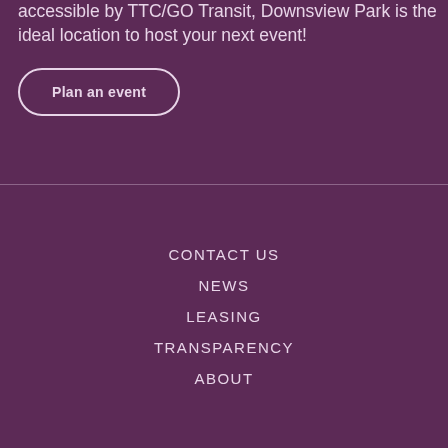accessible by TTC/GO Transit, Downsview Park is the ideal location to host your next event!
Plan an event
CONTACT US
NEWS
LEASING
TRANSPARENCY
ABOUT